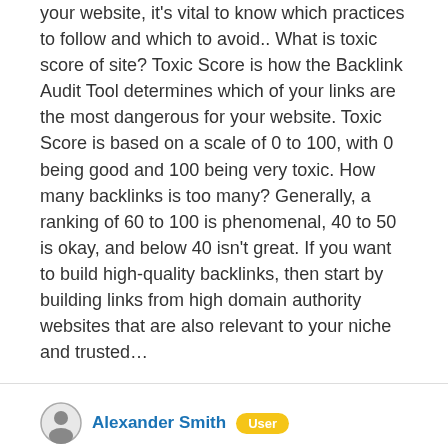your website, it's vital to know which practices to follow and which to avoid.. What is toxic score of site? Toxic Score is how the Backlink Audit Tool determines which of your links are the most dangerous for your website. Toxic Score is based on a scale of 0 to 100, with 0 being good and 100 being very toxic. How many backlinks is too many? Generally, a ranking of 60 to 100 is phenomenal, 40 to 50 is okay, and below 40 isn't great. If you want to build high-quality backlinks, then start by building links from high domain authority websites that are also relevant to your niche and trusted…
Alexander Smith  User
Question: What Is Link Building And How It Works?